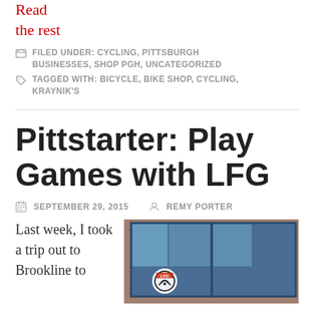Read the rest
FILED UNDER: CYCLING, PITTSBURGH BUSINESSES, SHOP PGH, UNCATEGORIZED
TAGGED WITH: BICYCLE, BIKE SHOP, CYCLING, KRAYNIK'S
Pittstarter: Play Games with LFG
SEPTEMBER 29, 2015   REMY PORTER
Last week, I took a trip out to Brookline to
[Figure (photo): Exterior photo of a brick building with blue-framed windows and a sign visible in the lower portion]